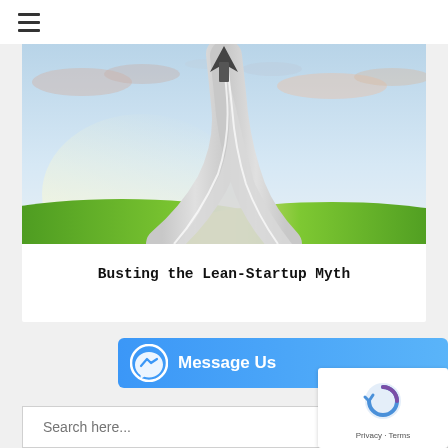≡ (hamburger menu icon)
[Figure (illustration): A road curving and launching upward into an arrow shape pointing skyward, with green grass fields on both sides, dramatic sky with clouds and light rays in the background — conceptual startup growth image.]
Busting the Lean-Startup Myth
[Figure (other): Facebook Messenger 'Message Us' button — blue rounded rectangle with white Messenger lightning bolt icon on the left and 'Message Us' text in white on the right.]
[Figure (other): reCAPTCHA widget box showing the reCAPTCHA logo and 'Privacy · Terms' footer text.]
Search here...